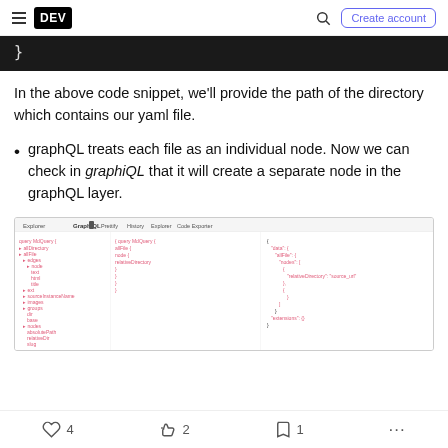DEV | Create account
[Figure (screenshot): Black code block showing a closing curly brace }]
In the above code snippet, we'll provide the path of the directory which contains our yaml file.
graphQL treats each file as an individual node. Now we can check in graphiQL that it will create a separate node in the graphQL layer.
[Figure (screenshot): GraphiQL interface screenshot showing Explorer panel on the left, a query in the center, and JSON result on the right with GraphQL schema nodes]
4 likes  2 unicorns  1 bookmark  more options